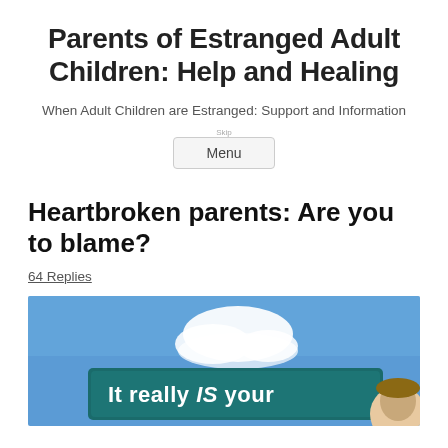Parents of Estranged Adult Children: Help and Healing
When Adult Children are Estranged: Support and Information
Menu
Heartbroken parents: Are you to blame?
64 Replies
[Figure (photo): A street sign reading 'It really IS your' against a blue sky with a white cloud, with a person's face partially visible in the corner.]